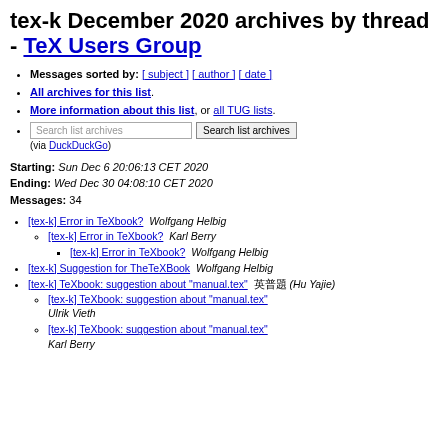tex-k December 2020 archives by thread - TeX Users Group
Messages sorted by: [ subject ] [ author ] [ date ]
All archives for this list.
More information about this list, or all TUG lists.
Search list archives (via DuckDuckGo)
Starting: Sun Dec 6 20:06:13 CET 2020
Ending: Wed Dec 30 04:08:10 CET 2020
Messages: 34
[tex-k] Error in TeXbook?  Wolfgang Helbig
[tex-k] Error in TeXbook?  Karl Berry
[tex-k] Error in TeXbook?  Wolfgang Helbig
[tex-k] Suggestion for TheTeXBook  Wolfgang Helbig
[tex-k] TeXbook: suggestion about "manual.tex"  胡 (Hu Yajie)
[tex-k] TeXbook: suggestion about "manual.tex"  Ulrik Vieth
[tex-k] TeXbook: suggestion about "manual.tex"  Karl Berry